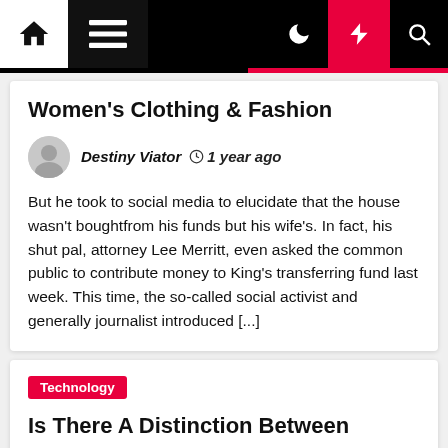Navigation bar with home, menu, moon, bolt, and search icons
Women's Clothing & Fashion
Destiny Viator  1 year ago
But he took to social media to elucidate that the house wasn't boughtfrom his funds but his wife's. In fact, his shut pal, attorney Lee Merritt, even asked the common public to contribute money to King's transferring fund last week. This time, the so-called social activist and generally journalist introduced [...]
Technology
Is There A Distinction Between